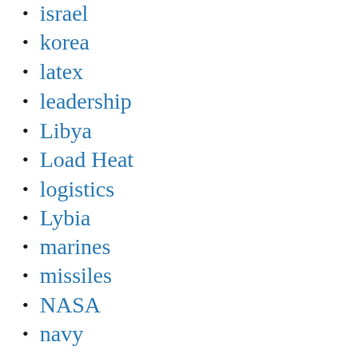israel
korea
latex
leadership
Libya
Load Heat
logistics
Lybia
marines
missiles
NASA
navy
nuclear weapons
obama
ossettia
Personal